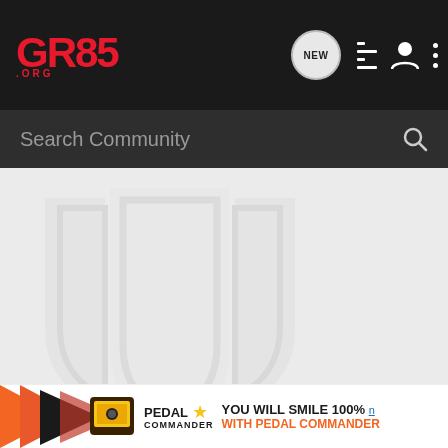GR86.ORG - Search Community
[Figure (screenshot): GR86.org forum website screenshot showing header navigation bar with GR86.ORG logo in red, NEW chat bubble icon, list icon, user icon, and three-dot menu icon. Below is a dark search bar reading 'Search Community' with a magnifying glass icon. Main content area shows a gray background with faint watermark shield/logo. Bottom shows partial text: Maxime L | 86WORX, info@86W..., Your #1 S... with a Pedal Commander advertisement banner.]
Maxime L | 86WORX
info@86W...
Your #1 S...
[Figure (infographic): Pedal Commander advertisement banner showing orange/black arrow graphic on left, Pedal Commander device image, PEDAL COMMANDER logo with gold star, text YOU WILL SMILE 100% WITH PEDAL COMMANDER in orange and black.]